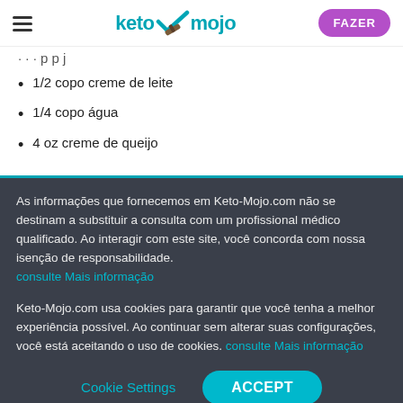keto mojo | FAZER
1/2 copo creme de leite
1/4 copo água
4 oz creme de queijo
As informações que fornecemos em Keto-Mojo.com não se destinam a substituir a consulta com um profissional médico qualificado. Ao interagir com este site, você concorda com nossa isenção de responsabilidade. consulte Mais informação
Keto-Mojo.com usa cookies para garantir que você tenha a melhor experiência possível. Ao continuar sem alterar suas configurações, você está aceitando o uso de cookies. consulte Mais informação
Cookie Settings  ACCEPT